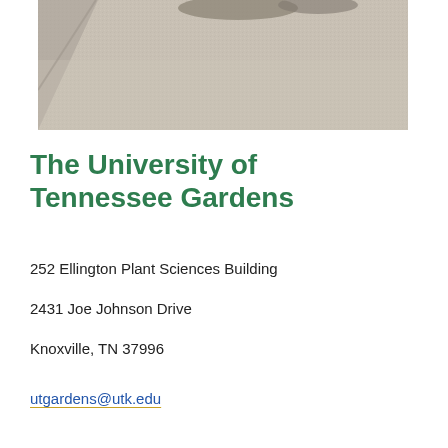[Figure (photo): Outdoor photo showing a concrete/stone pavement surface with shadows visible at the top, framed with a slight border]
The University of Tennessee Gardens
252 Ellington Plant Sciences Building
2431 Joe Johnson Drive
Knoxville, TN 37996
utgardens@utk.edu